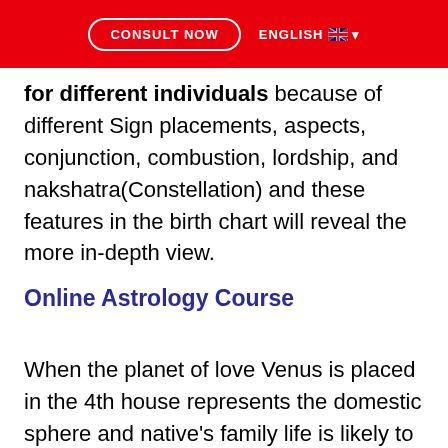CONSULT NOW | ENGLISH
for different individuals because of different Sign placements, aspects, conjunction, combustion, lordship, and nakshatra(Constellation) and these features in the birth chart will reveal the more in-depth view.
Online Astrology Course
When the planet of love Venus is placed in the 4th house represents the domestic sphere and native's family life is likely to be blissful and full of happiness and amicable environment. There will be a lot of harmony, compassion, and love among